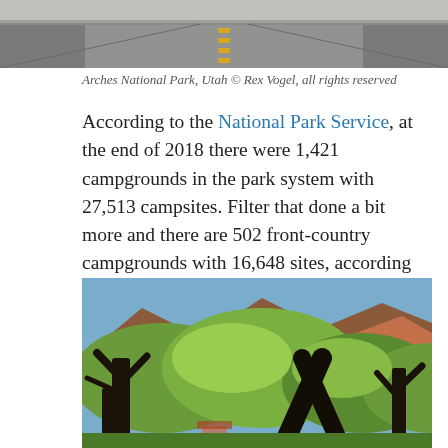[Figure (photo): Top portion of a road at Arches National Park, Utah — asphalt road with yellow center line, gray sky]
Arches National Park, Utah © Rex Vogel, all rights reserved
According to the National Park Service, at the end of 2018 there were 1,421 campgrounds in the park system with 27,513 campsites. Filter that done a bit more and there are 502 front-country campgrounds with 16,648 sites, according to the Park Service.
[Figure (photo): Campground scene with large dark tree trunks in foreground, green leafy trees, and colorful mountain in background]